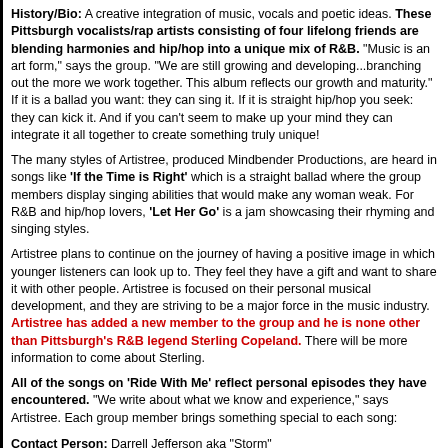History/Bio: A creative integration of music, vocals and poetic ideas. These Pittsburgh vocalists/rap artists consisting of four lifelong friends are blending harmonies and hip/hop into a unique mix of R&B. "Music is an art form," says the group. "We are still growing and developing...branching out the more we work together. This album reflects our growth and maturity." If it is a ballad you want: they can sing it. If it is straight hip/hop you seek: they can kick it. And if you can't seem to make up your mind they can integrate it all together to create something truly unique!
The many styles of Artistree, produced Mindbender Productions, are heard in songs like 'If the Time is Right' which is a straight ballad where the group members display singing abilities that would make any woman weak. For R&B and hip/hop lovers, 'Let Her Go' is a jam showcasing their rhyming and singing styles.
Artistree plans to continue on the journey of having a positive image in which younger listeners can look up to. They feel they have a gift and want to share it with other people. Artistree is focused on their personal musical development, and they are striving to be a major force in the music industry. Artistree has added a new member to the group and he is none other than Pittsburgh's R&B legend Sterling Copeland. There will be more information to come about Sterling.
All of the songs on 'Ride With Me' reflect personal episodes they have encountered. "We write about what we know and experience," says Artistree. Each group member brings something special to each song:
Contact Person: Darrell Jefferson aka "Storm"
City and State: Pittsburgh, PA
Phone: 412-414-1039